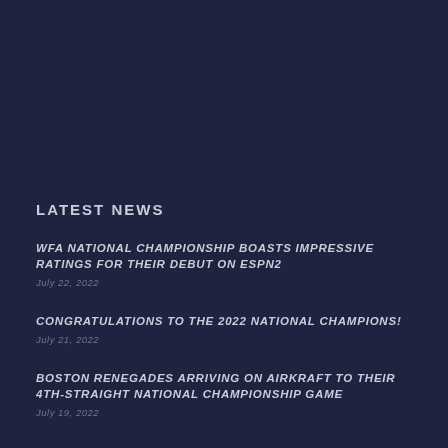LATEST NEWS
WFA NATIONAL CHAMPIONSHIP BOASTS IMPRESSIVE RATINGS FOR THEIR DEBUT ON ESPN2
July 22, 2022
CONGRATULATIONS TO THE 2022 NATIONAL CHAMPIONS!
July 21, 2022
BOSTON RENEGADES ARRIVING ON AIRKRAFT TO THEIR 4TH-STRAIGHT NATIONAL CHAMPIONSHIP GAME
July 19, 2022